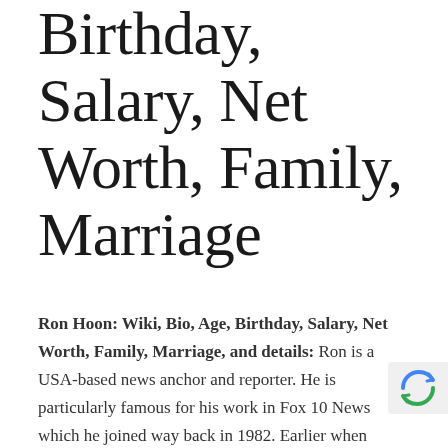Birthday, Salary, Net Worth, Family, Marriage
Ron Hoon: Wiki, Bio, Age, Birthday, Salary, Net Worth, Family, Marriage, and details: Ron is a USA-based news anchor and reporter. He is particularly famous for his work in Fox 10 News which he joined way back in 1982. Earlier when Ron joined Fox News it was known as Kool-TV. Ron is mostly seen anchoring the weekday news.